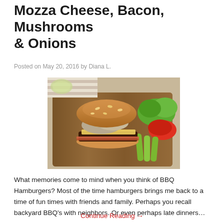Mozza Cheese, Bacon, Mushrooms & Onions
Posted on May 20, 2016 by Diana L.
[Figure (photo): A burger topped with mushrooms and onions served on a wooden board with pickle spears, tomato slices, and lettuce on the side.]
What memories come to mind when you think of BBQ Hamburgers? Most of the time hamburgers brings me back to a time of fun times with friends and family. Perhaps you recall backyard BBQ's with neighbors. Or even perhaps late dinners…
Continue Reading →